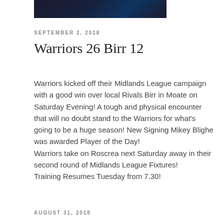[Figure (photo): Dark banner image, partial view of a sports club header]
SEPTEMBER 2, 2018
Warriors 26 Birr 12
Warriors kicked off their Midlands League campaign with a good win over local Rivals Birr in Moate on Saturday Evening! A tough and physical encounter that will no doubt stand to the Warriors for what's going to be a huge season! New Signing Mikey Blighe was awarded Player of the Day!
Warriors take on Roscrea next Saturday away in their second round of Midlands League Fixtures!
Training Resumes Tuesday from 7.30!
AUGUST 31, 2018